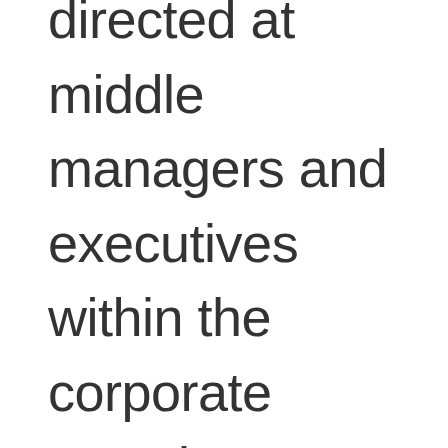directed at middle managers and executives within the corporate complex. Without a truly freed market's price